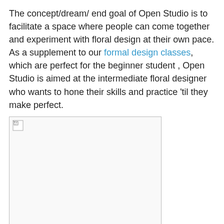The concept/dream/ end goal of Open Studio is to facilitate a space where people can come together and experiment with floral design at their own pace. As a supplement to our formal design classes, which are perfect for the beginner student , Open Studio is aimed at the intermediate floral designer who wants to hone their skills and practice 'til they make perfect.
[Figure (photo): A broken/missing image placeholder showing a small broken image icon in the top-left corner of a white rectangular box with a light border.]
We will instruct you individually as needed. It's kind of like a yoga class where you can either ask the teacher to adjust your poses, or tell them to keep their hands off! Chose out your favorite flowers from our selection of locally grown flowers and your favorite vase from our collection. Make a